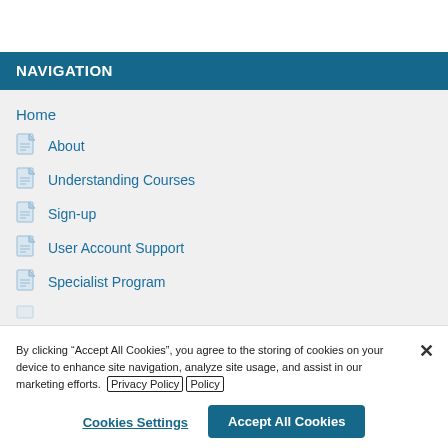NAVIGATION
Home
About
Understanding Courses
Sign-up
User Account Support
Specialist Program
By clicking “Accept All Cookies”, you agree to the storing of cookies on your device to enhance site navigation, analyze site usage, and assist in our marketing efforts. Privacy Policy
Cookies Settings
Accept All Cookies